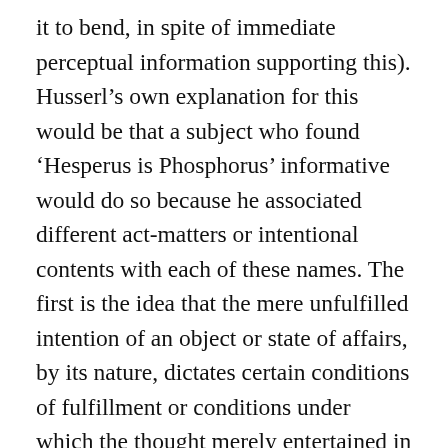it to bend, in spite of immediate perceptual information supporting this). Husserl's own explanation for this would be that a subject who found 'Hesperus is Phosphorus' informative would do so because he associated different act-matters or intentional contents with each of these names. The first is the idea that the mere unfulfilled intention of an object or state of affairs, by its nature, dictates certain conditions of fulfillment or conditions under which the thought merely entertained in the current intention would be given with full and complete evidence or intuition. Request PDF | On Jan 1, 2018, Carlo Ierna published Intentionality and Consciousness | Find, read and cite all the research you need on